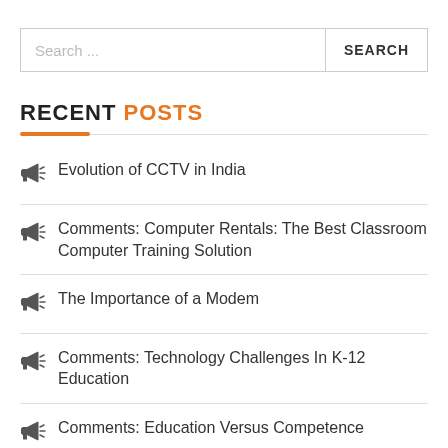[Figure (screenshot): Search bar with placeholder text 'Search ...' and a SEARCH button]
RECENT POSTS
Evolution of CCTV in India
Comments: Computer Rentals: The Best Classroom Computer Training Solution
The Importance of a Modem
Comments: Technology Challenges In K-12 Education
Comments: Education Versus Competence